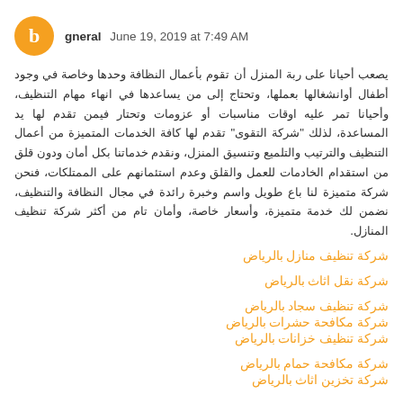gneral  June 19, 2019 at 7:49 AM
يصعب أحيانا على ربة المنزل أن تقوم بأعمال النظافة وحدها وخاصة في وجود أطفال أوانشغالها بعملها، وتحتاج إلى من يساعدها في انهاء مهام التنظيف، وأحيانا تمر عليه اوقات مناسبات أو عزومات وتحتار فيمن تقدم لها يد المساعدة، لذلك "شركة التقوى" تقدم لها كافة الخدمات المتميزة من أعمال التنظيف والترتيب والتلميع وتنسيق المنزل، ونقدم خدماتنا بكل أمان ودون قلق من استقدام الخادمات للعمل والقلق وعدم استئمانهم على الممتلكات، فنحن شركة متميزة لنا باع طويل واسم وخبرة رائدة في مجال النظافة والتنظيف، نضمن لك خدمة متميزة، وأسعار خاصة، وأمان تام من أكثر شركة تنظيف المنازل.
شركة تنظيف منازل بالرياض
شركة نقل اثاث بالرياض
شركة تنظيف سجاد بالرياض
شركة مكافحة حشرات بالرياض
شركة تنظيف خزانات بالرياض
شركة مكافحة حمام بالرياض
شركة تخزين اثاث بالرياض